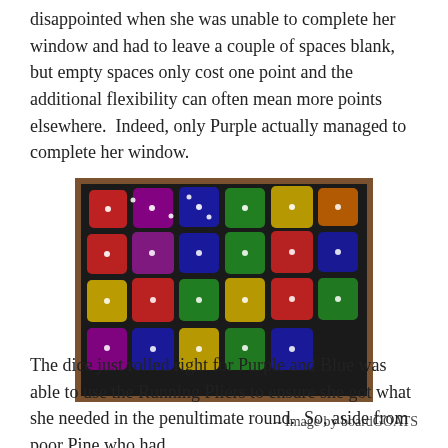disappointed when she was unable to complete her window and had to leave a couple of spaces blank, but empty spaces only cost one point and the additional flexibility can often mean more points elsewhere.  Indeed, only Purple actually managed to complete her window.
[Figure (photo): A tray filled with colourful dice in various colours including red, blue, green, yellow, and purple, arranged in rows.]
– Image by boardGOATS
The dice just rolled right for Purple and Blue was able to use the Running Pliers to ensure she got what she needed in the penultimate round.  So, aside from poor Pine who had